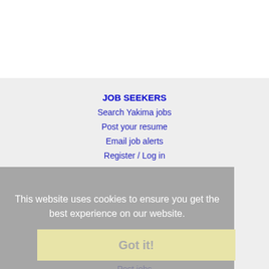JOB SEEKERS
Search Yakima jobs
Post your resume
Email job alerts
Register / Log in
This website uses cookies to ensure you get the best experience on our website.
Learn more
EMPLOYERS
Post jobs
Search resumes
Email resume alerts
Advertise
Got it!